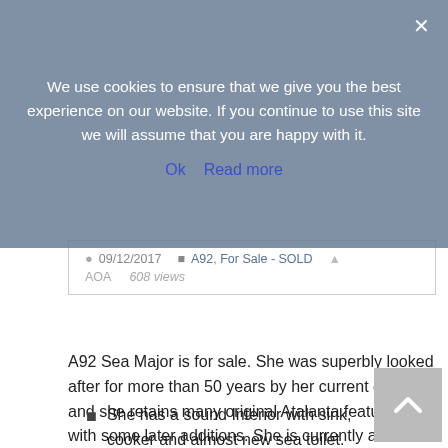We use cookies to ensure that we give you the best experience on our website. If you continue to use this site we will assume that you are happy with it.
Ok   Read more
09/12/2017   A92, For Sale - SOLD   AOA   608 views
A92 Sea Major is for sale. She was superbly looked after for more than 50 years by her current owner, and she retains many original Atalanta features, with some later additions. She is currently ashore in Wales, sitting on a galvanised purpose built trailer which is in excellent condition.
She has a sound Interior with sink, cooker and almost new sea toilet.